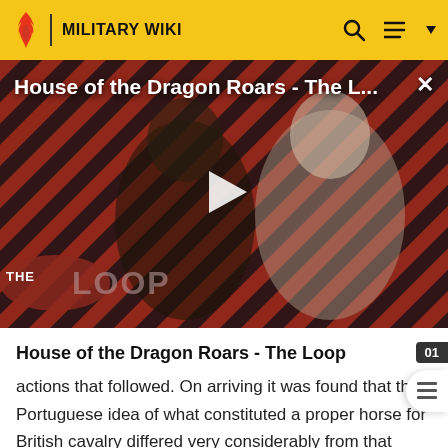MILITARY WIKI
[Figure (screenshot): Video thumbnail for 'House of the Dragon Roars - The L...' showing two characters in medieval fantasy costumes against a diagonal red and black stripe background, with a play button in the center and 'THE LOOP' logo in the lower left. An X close button appears top right.]
House of the Dragon Roars - The Loop
actions that followed. On arriving it was found that the Portuguese idea of what constituted a proper horse for British cavalry differed very considerably from that entertained by the latter themselves, and as a